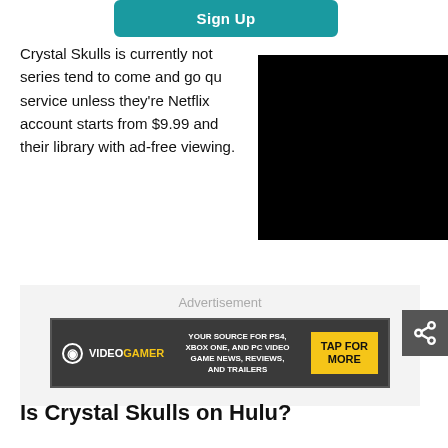[Figure (other): Sign Up button with teal background]
Crystal Skulls is currently not series tend to come and go qu service unless they're Netflix account starts from $9.99 and their library with ad-free viewing.
[Figure (other): Black redacted rectangle]
Advertisement
[Figure (other): VideoGamer advertisement banner: YOUR SOURCE FOR PS4, XBOX ONE, AND PC VIDEO GAME NEWS, REVIEWS, AND TRAILERS. TAP FOR MORE]
[Figure (other): Share icon button]
Is Crystal Skulls on Hulu?